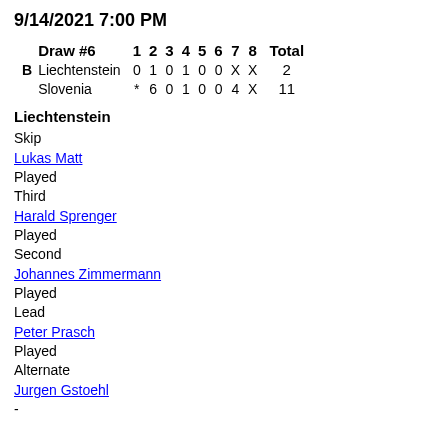9/14/2021 7:00 PM
| Draw #6 | 1 | 2 | 3 | 4 | 5 | 6 | 7 | 8 | Total |
| --- | --- | --- | --- | --- | --- | --- | --- | --- | --- |
| B Liechtenstein | 0 | 1 | 0 | 1 | 0 | 0 | X | X | 2 |
| B Slovenia | * | 6 | 0 | 1 | 0 | 0 | 4 | X | X | 11 |
Liechtenstein
Skip
Lukas Matt
Played
Third
Harald Sprenger
Played
Second
Johannes Zimmermann
Played
Lead
Peter Prasch
Played
Alternate
Jurgen Gstoehl
-